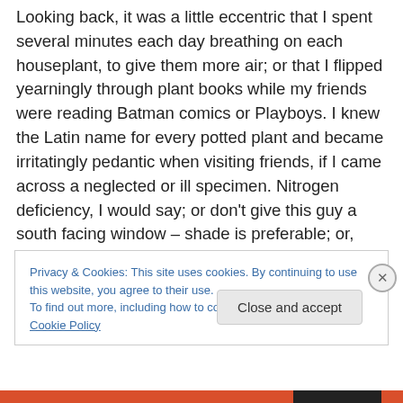Looking back, it was a little eccentric that I spent several minutes each day breathing on each houseplant, to give them more air; or that I flipped yearningly through plant books while my friends were reading Batman comics or Playboys. I knew the Latin name for every potted plant and became irritatingly pedantic when visiting friends, if I came across a neglected or ill specimen. Nitrogen deficiency, I would say; or don't give this guy a south facing window – shade is preferable; or, your fern needs watering (with a condemning scowl). I didn't get invited out much.
Privacy & Cookies: This site uses cookies. By continuing to use this website, you agree to their use.
To find out more, including how to control cookies, see here: Cookie Policy